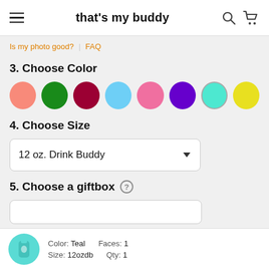that's my buddy
Is my photo good? | FAQ
3. Choose Color
[Figure (other): Row of 8 color swatches (circles): salmon/coral, green, dark red/crimson, light blue, pink, purple, teal (selected with border), yellow]
4. Choose Size
12 oz. Drink Buddy
5. Choose a giftbox
Color: Teal   Faces: 1   Size: 12ozdb   Qty: 1